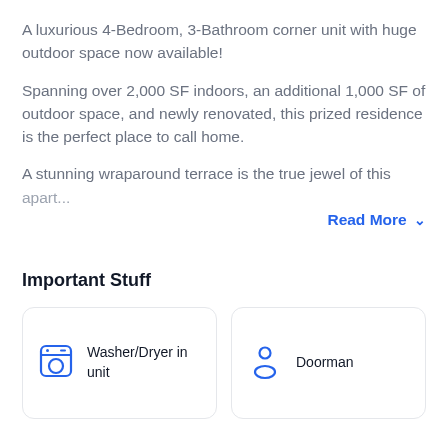A luxurious 4-Bedroom, 3-Bathroom corner unit with huge outdoor space now available!
Spanning over 2,000 SF indoors, an additional 1,000 SF of outdoor space, and newly renovated, this prized residence is the perfect place to call home.
A stunning wraparound terrace is the true jewel of this apart...
Read More ∨
Important Stuff
Washer/Dryer in unit
Doorman